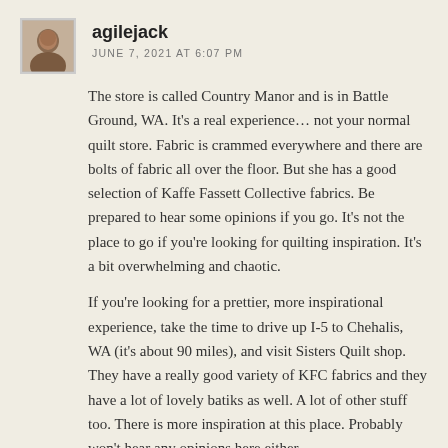[Figure (photo): Avatar photo of user agilejack, small portrait thumbnail]
agilejack
JUNE 7, 2021 AT 6:07 PM
The store is called Country Manor and is in Battle Ground, WA. It's a real experience… not your normal quilt store. Fabric is crammed everywhere and there are bolts of fabric all over the floor. But she has a good selection of Kaffe Fassett Collective fabrics. Be prepared to hear some opinions if you go. It's not the place to go if you're looking for quilting inspiration. It's a bit overwhelming and chaotic.
If you're looking for a prettier, more inspirational experience, take the time to drive up I-5 to Chehalis, WA (it's about 90 miles), and visit Sisters Quilt shop. They have a really good variety of KFC fabrics and they have a lot of lovely batiks as well. A lot of other stuff too. There is more inspiration at this place. Probably won't hear any opinions here either.